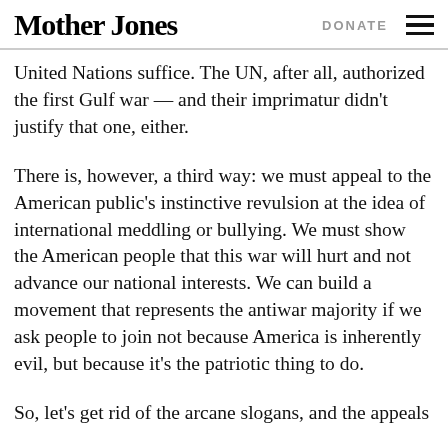Mother Jones | DONATE
United Nations suffice. The UN, after all, authorized the first Gulf war — and their imprimatur didn't justify that one, either.
There is, however, a third way: we must appeal to the American public's instinctive revulsion at the idea of international meddling or bullying. We must show the American people that this war will hurt and not advance our national interests. We can build a movement that represents the antiwar majority if we ask people to join not because America is inherently evil, but because it's the patriotic thing to do.
So, let's get rid of the arcane slogans, and the appeals